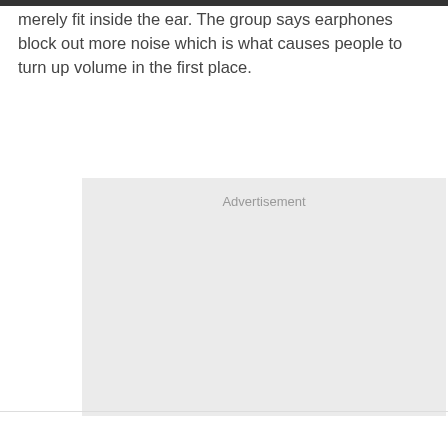merely fit inside the ear. The group says earphones block out more noise which is what causes people to turn up volume in the first place.
[Figure (other): Advertisement placeholder box with light gray background and 'Advertisement' label text centered near the top.]